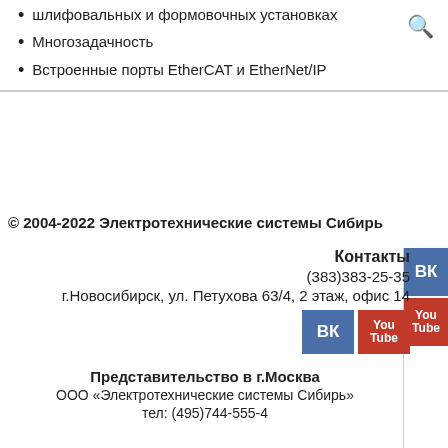шлифовальных и формовочных установках
Многозадачность
Встроенные порты EtherCAT и EtherNet/IP
© 2004-2022 Электротехнические системы Сибирь
Контакты
(383)383-25-35
г.Новосибирск, ул. Петухова 63/4, 2 этаж, офис 14
Представительство в г.Москва
ООО «Электротехнические системы Сибирь»
тел: (495)744-555-4